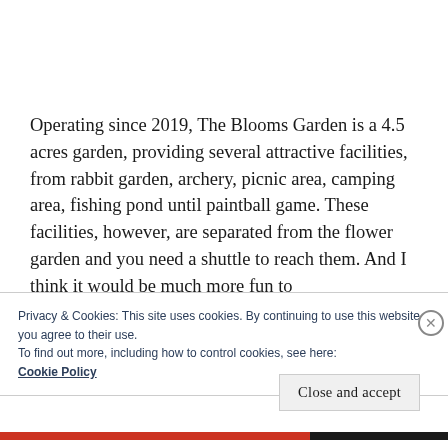Operating since 2019, The Blooms Garden is a 4.5 acres garden, providing several attractive facilities, from rabbit garden, archery, picnic area, camping area, fishing pond until paintball game. These facilities, however, are separated from the flower garden and you need a shuttle to reach them. And I think it would be much more fun to
Privacy & Cookies: This site uses cookies. By continuing to use this website, you agree to their use.
To find out more, including how to control cookies, see here:
Cookie Policy
Close and accept